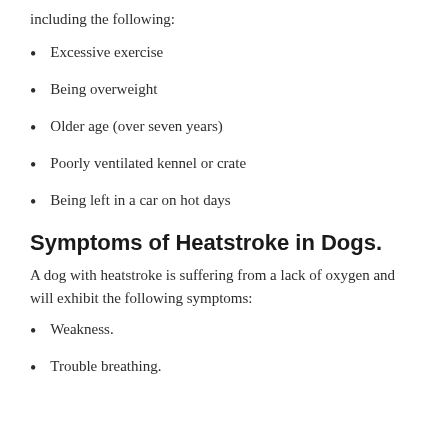including the following:
Excessive exercise
Being overweight
Older age (over seven years)
Poorly ventilated kennel or crate
Being left in a car on hot days
Symptoms of Heatstroke in Dogs.
A dog with heatstroke is suffering from a lack of oxygen and will exhibit the following symptoms:
Weakness.
Trouble breathing.